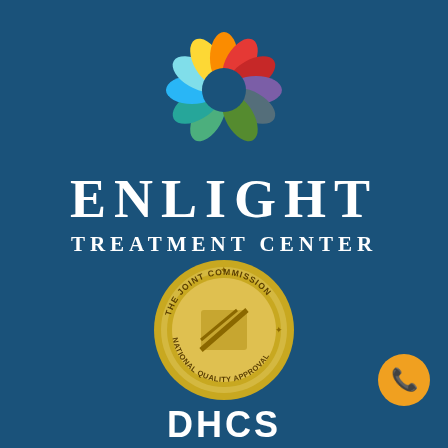[Figure (logo): Enlight Treatment Center logo with colorful circular icon made of petal/wedge shapes in various colors (green, teal, blue, yellow, orange, red, purple) arranged in a ring, above the text ENLIGHT TREATMENT CENTER in white on dark blue background]
[Figure (illustration): The Joint Commission National Quality Approval gold seal/medallion badge]
[Figure (illustration): Orange phone/chat button icon in bottom right corner]
[Figure (logo): DHCS logo partially visible at bottom center]